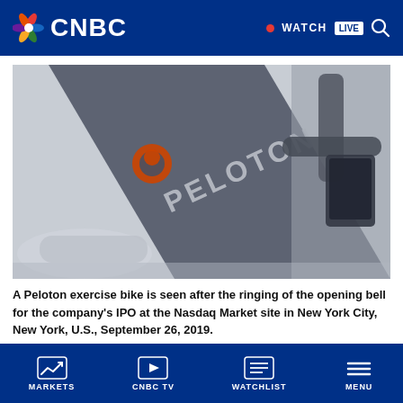CNBC
[Figure (photo): A Peloton exercise bike close-up showing the Peloton logo on the frame, with the handlebars visible to the right. The image is slightly muted/grey-toned.]
A Peloton exercise bike is seen after the ringing of the opening bell for the company's IPO at the Nasdaq Market site in New York City, New York, U.S., September 26, 2019.
Shannon Stapleton | Reuters
MARKETS | CNBC TV | WATCHLIST | MENU